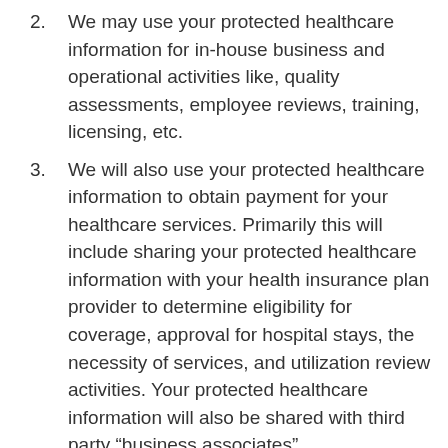2. We may use your protected healthcare information for in-house business and operational activities like, quality assessments, employee reviews, training, licensing, etc.
3. We will also use your protected healthcare information to obtain payment for your healthcare services. Primarily this will include sharing your protected healthcare information with your health insurance plan provider to determine eligibility for coverage, approval for hospital stays, the necessity of services, and utilization review activities. Your protected healthcare information will also be shared with third party “business associates”